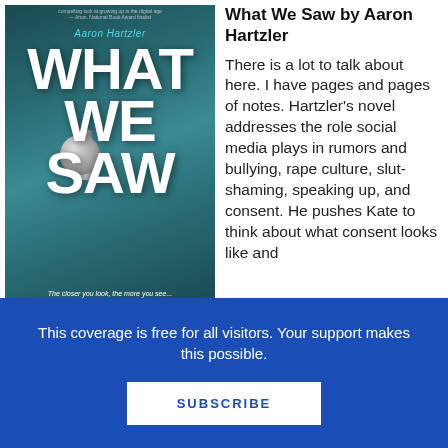[Figure (photo): Book cover of 'What We Saw' by Aaron Hartzler, featuring large white painted text against a dark teal background with a doorknob visible. Tagline reads: The closer you look, the more you see.]
What We Saw by Aaron Hartzler
There is a lot to talk about here. I have pages and pages of notes. Hartzler's novel addresses the role social media plays in rumors and bullying, rape culture, slut-shaming, speaking up, and consent. He pushes Kate to think about what consent looks like and
This coverage is free for all visitors. Your support makes this possible.
SUBSCRIBE